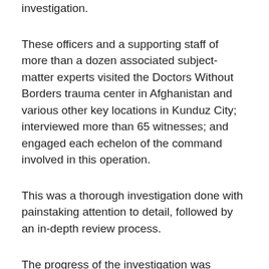investigation.
These officers and a supporting staff of more than a dozen associated subject-matter experts visited the Doctors Without Borders trauma center in Afghanistan and various other key locations in Kunduz City; interviewed more than 65 witnesses; and engaged each echelon of the command involved in this operation.
This was a thorough investigation done with painstaking attention to detail, followed by an in-depth review process.
The progress of the investigation was guided by a pursuit for an accurate account of the facts and